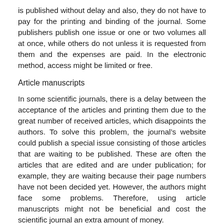is published without delay and also, they do not have to pay for the printing and binding of the journal. Some publishers publish one issue or one or two volumes all at once, while others do not unless it is requested from them and the expenses are paid. In the electronic method, access might be limited or free.
Article manuscripts
In some scientific journals, there is a delay between the acceptance of the articles and printing them due to the great number of received articles, which disappoints the authors. To solve this problem, the journal's website could publish a special issue consisting of those articles that are waiting to be published. These are often the articles that are edited and are under publication; for example, they are waiting because their page numbers have not been decided yet. However, the authors might face some problems. Therefore, using article manuscripts might not be beneficial and cost the scientific journal an extra amount of money.